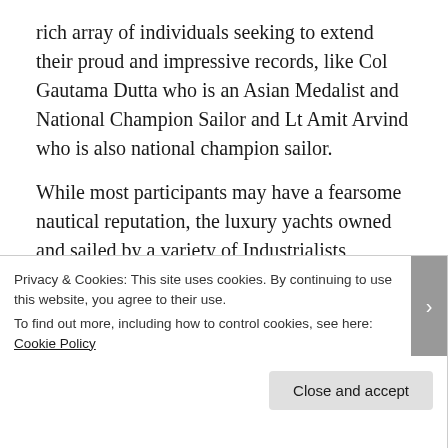rich array of individuals seeking to extend their proud and impressive records, like Col Gautama Dutta who is an Asian Medalist and National Champion Sailor and Lt Amit Arvind who is also national champion sailor.
While most participants may have a fearsome nautical reputation, the luxury yachts owned and sailed by a variety of Industrialists including Jamshyd Godrej from the Godrej Group, Ravi Mariwala from the Mariwala Group, Ashish Hemrajani from BookMyShow, Bharat Kewalramani, ex-head of South East Asia for JP Morgan, and Frank Hancock, ex-MD of Barclays Bank investment banking, took the show with their unencumbered élan
Privacy & Cookies: This site uses cookies. By continuing to use this website, you agree to their use.
To find out more, including how to control cookies, see here: Cookie Policy